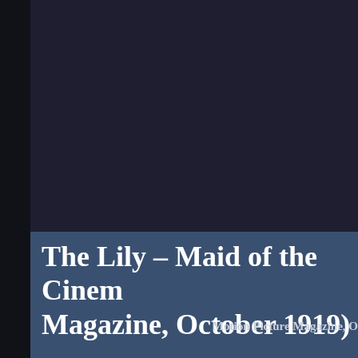The Lily – Maid of the Cinema (Motion Picture Magazine, October 1919)
Motion Picture Magazine, O